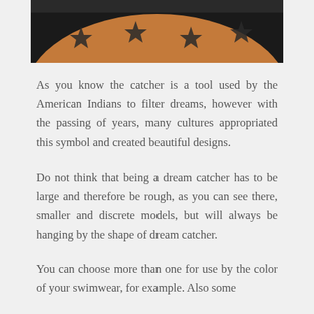[Figure (photo): Close-up photo of a round object with dark star shapes on an orange/brown surface, partially visible at the top of the page.]
As you know the catcher is a tool used by the American Indians to filter dreams, however with the passing of years, many cultures appropriated this symbol and created beautiful designs.
Do not think that being a dream catcher has to be large and therefore be rough, as you can see there, smaller and discrete models, but will always be hanging by the shape of dream catcher.
You can choose more than one for use by the color of your swimwear, for example. Also some